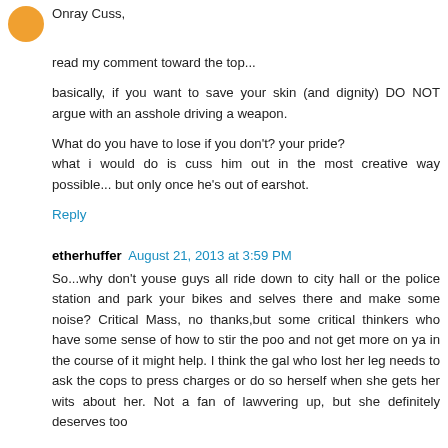Onray Cuss,

read my comment toward the top...

basically, if you want to save your skin (and dignity) DO NOT argue with an asshole driving a weapon.

What do you have to lose if you don't? your pride? what i would do is cuss him out in the most creative way possible... but only once he's out of earshot.
Reply
etherhuffer  August 21, 2013 at 3:59 PM
So...why don't youse guys all ride down to city hall or the police station and park your bikes and selves there and make some noise? Critical Mass, no thanks,but some critical thinkers who have some sense of how to stir the poo and not get more on ya in the course of it might help. I think the gal who lost her leg needs to ask the cops to press charges or do so herself when she gets her wits about her. Not a fan of lawvering up, but she definitely deserves too